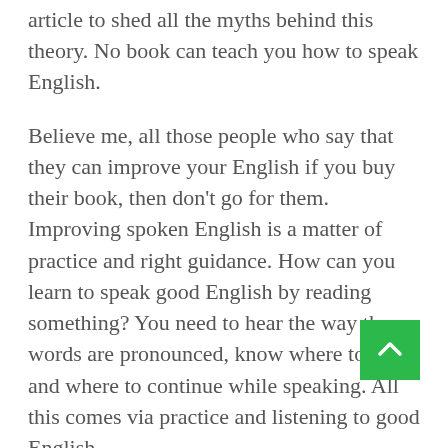article to shed all the myths behind this theory. No book can teach you how to speak English.
Believe me, all those people who say that they can improve your English if you buy their book, then don't go for them. Improving spoken English is a matter of practice and right guidance. How can you learn to speak good English by reading something? You need to hear the way the words are pronounced, know where to stop, and where to continue while speaking. All this comes via practice and listening to good English.
For improving your communication skills, you should be first be comfortable with grammar. Grammar is what we studied in our starting school days, and used to hate it as a very boring subject, but this grammar is the one which is essential for getting a good hold of